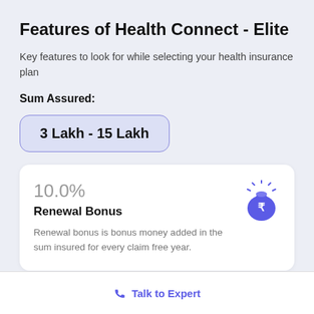Features of Health Connect - Elite
Key features to look for while selecting your health insurance plan
Sum Assured:
3 Lakh - 15 Lakh
10.0%
Renewal Bonus
Renewal bonus is bonus money added in the sum insured for every claim free year.
Talk to Expert